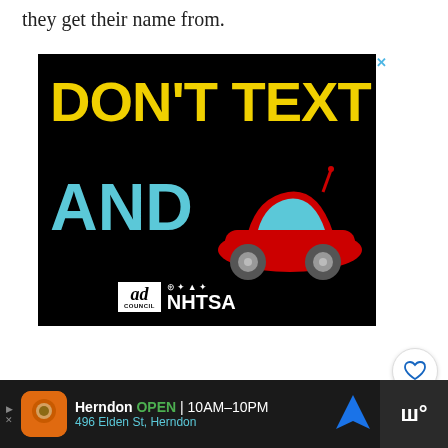they get their name from.
[Figure (other): Ad banner: 'DON'T TEXT AND [car emoji]' on black background with Ad Council and NHTSA logos]
11
WHAT'S NEXT → Best Pet Lizards
Herndon OPEN 10AM–10PM 496 Elden St, Herndon